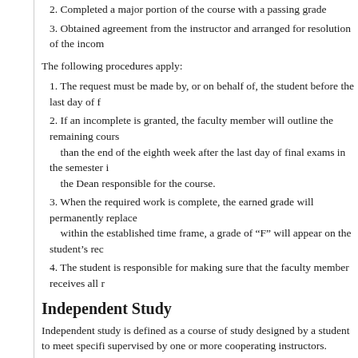2. Completed a major portion of the course with a passing grade
3. Obtained agreement from the instructor and arranged for resolution of the incom
The following procedures apply:
1. The request must be made by, or on behalf of, the student before the last day of f
2. If an incomplete is granted, the faculty member will outline the remaining cours than the end of the eighth week after the last day of final exams in the semester i the Dean responsible for the course.
3. When the required work is complete, the earned grade will permanently replace within the established time frame, a grade of “F” will appear on the student’s rec
4. The student is responsible for making sure that the faculty member receives all r
Independent Study
Independent study is defined as a course of study designed by a student to meet specifi supervised by one or more cooperating instructors. Regular college credit is given, and
An independent study course may be undertaken under the following conditions:
1. Elective credits only will be given, with the number of credits (not to exceed 3) a
2. The student must propose the course to the supervising instructor at least five we will be completed.
3. The student and faculty member will jointly develop a formal proposal, which m
a. Reason(s) for requesting independent study in lieu of existing elective co